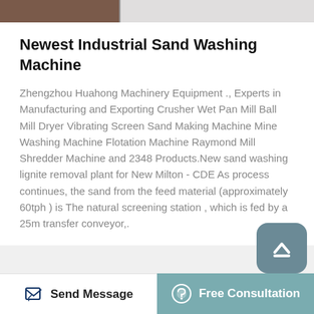[Figure (photo): Top image bar showing partial product/machinery photo on the left and a white/light area on the right]
Newest Industrial Sand Washing Machine
Zhengzhou Huahong Machinery Equipment ., Experts in Manufacturing and Exporting Crusher Wet Pan Mill Ball Mill Dryer Vibrating Screen Sand Making Machine Mine Washing Machine Flotation Machine Raymond Mill Shredder Machine and 2348 Products.New sand washing lignite removal plant for New Milton - CDE As process continues, the sand from the feed material (approximately 60tph ) is The natural screening station , which is fed by a 25m transfer conveyor,.
[Figure (screenshot): Scroll-to-top button with upward chevron icon, rounded rectangle shape in blue-gray]
Send Message   Free Consultation